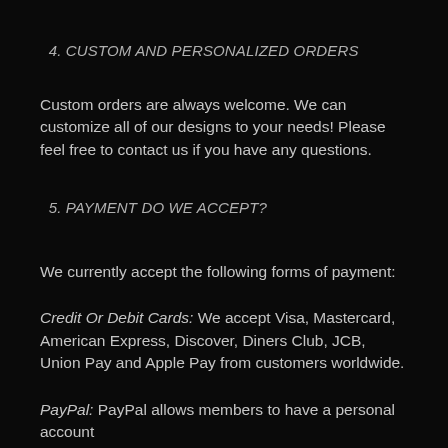4. CUSTOM AND PERSONALIZED ORDERS
Custom orders are always welcome. We can customize all of our designs to your needs! Please feel free to contact us if you have any questions.
5. PAYMENT DO WE ACCEPT?
We currently accept the following forms of payment:
Credit Or Debit Cards: We accept Visa, Mastercard, American Express, Discover, Diners Club, JCB, Union Pay and Apple Pay from customers worldwide.
PayPal: PayPal allows members to have a personal account